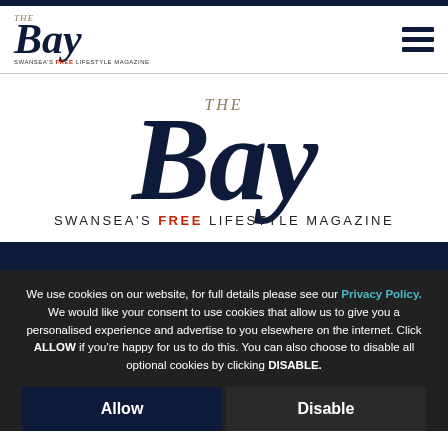The Bay - Swansea's FREE Lifestyle Magazine - navigation header with hamburger menu
[Figure (logo): The Bay magazine logo - large script 'Bay' with 'THE' above in gold italic, tagline 'SWANSEA'S FREE LIFESTYLE MAGAZINE' below with FREE in red]
We use cookies on our website, for full details please see our Privacy Policy. We would like your consent to use cookies that allow us to give you a personalised experience and advertise to you elsewhere on the internet. Click ALLOW if you're happy for us to do this. You can also choose to disable all optional cookies by clicking DISABLE.
Allow
Disable